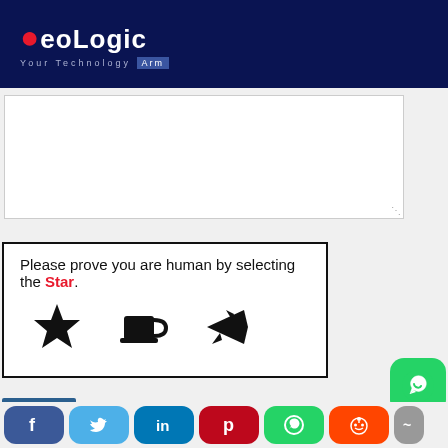[Figure (logo): AeoLogic - Your Technology Arm logo on dark navy background]
[Figure (screenshot): Empty white textarea input box with resize handle]
Please prove you are human by selecting the Star.
[Figure (other): CAPTCHA widget with star, coffee cup, and airplane icons]
[Figure (other): SEND button in dark blue]
[Figure (other): WhatsApp floating button]
[Figure (other): Social media share buttons: Facebook, Twitter, LinkedIn, Pinterest, WhatsApp, Reddit, and partial button]